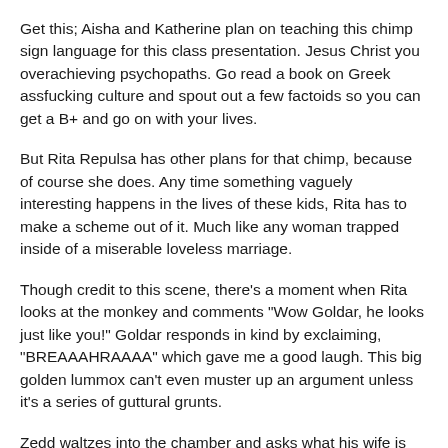Get this; Aisha and Katherine plan on teaching this chimp sign language for this class presentation. Jesus Christ you overachieving psychopaths. Go read a book on Greek assfucking culture and spout out a few factoids so you can get a B+ and go on with your lives.
But Rita Repulsa has other plans for that chimp, because of course she does. Any time something vaguely interesting happens in the lives of these kids, Rita has to make a scheme out of it. Much like any woman trapped inside of a miserable loveless marriage.
Though credit to this scene, there's a moment when Rita looks at the monkey and comments "Wow Goldar, he looks just like you!" Goldar responds in kind by exclaiming, "BREAAAHRAAAA" which gave me a good laugh. This big golden lummox can't even muster up an argument unless it's a series of guttural grunts.
Zedd waltzes into the chamber and asks what his wife is blathering on about now. Goldar complains to his surrogate father, blah blah blah, you get the idea...